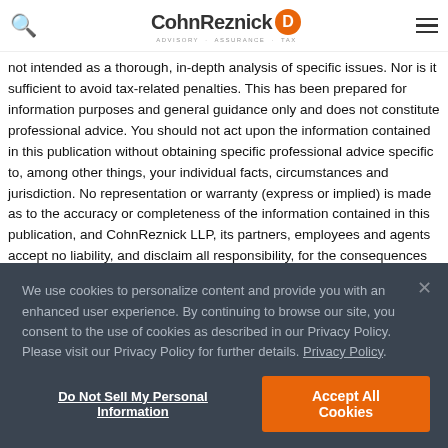CohnReznick [logo]
not intended as a thorough, in-depth analysis of specific issues. Nor is it sufficient to avoid tax-related penalties. This has been prepared for information purposes and general guidance only and does not constitute professional advice. You should not act upon the information contained in this publication without obtaining specific professional advice specific to, among other things, your individual facts, circumstances and jurisdiction. No representation or warranty (express or implied) is made as to the accuracy or completeness of the information contained in this publication, and CohnReznick LLP, its partners, employees and agents accept no liability, and disclaim all responsibility, for the consequences of you or anyone else acting, or refraining to act, in reliance on the information contained in this publication or for any decision based on it.
We use cookies to personalize content and provide you with an enhanced user experience. By continuing to browse our site, you consent to the use of cookies as described in our Privacy Policy. Please visit our Privacy Policy for further details. Privacy Policy
Do Not Sell My Personal Information | Accept All Cookies